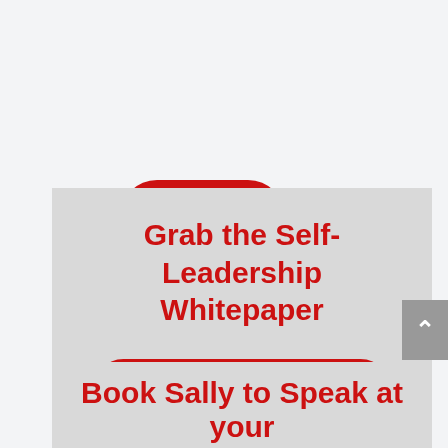[Figure (other): Red pill-shaped button with white bold text reading PODCAST LINK followed by double chevron arrows]
Grab the Self-Leadership Whitepaper
[Figure (other): Red pill-shaped button with white bold text reading CLICK HERE followed by double chevron arrows]
Book Sally to Speak at your